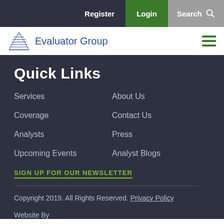Register | Login | Search
[Figure (logo): Evaluator Group logo with pyramid icon and text 'Evaluator Group']
Quick Links
Services
About Us
Coverage
Contact Us
Analysts
Press
Upcoming Events
Analyst Blogs
SIGN UP FOR OUR NEWSLETTER
Copyright 2019. All Rights Reserved. Privacy Policy
Website By